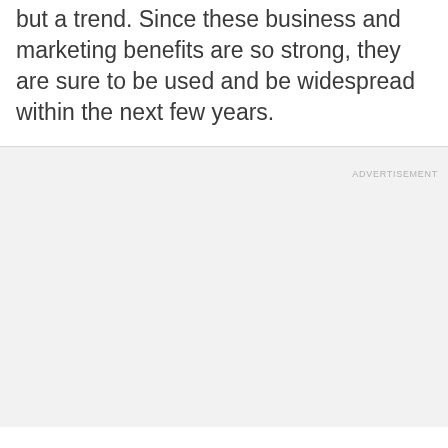but a trend. Since these business and marketing benefits are so strong, they are sure to be used and be widespread within the next few years.
ADVERTISEMENT